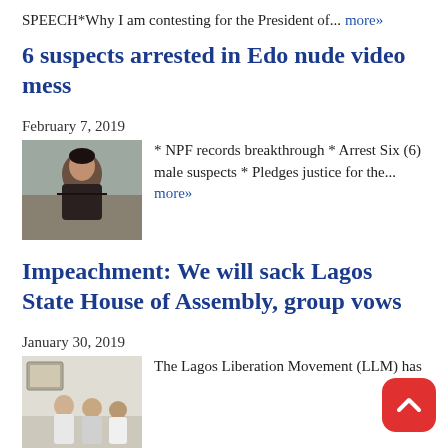SPEECH*Why I am contesting for the President of... more»
6 suspects arrested in Edo nude video mess
February 7, 2019
[Figure (photo): Thumbnail photo of a woman]
* NPF records breakthrough * Arrest Six (6) male suspects * Pledges justice for the... more»
Impeachment: We will sack Lagos State House of Assembly, group vows
January 30, 2019
[Figure (photo): Thumbnail photo of people]
The Lagos Liberation Movement (LLM) has